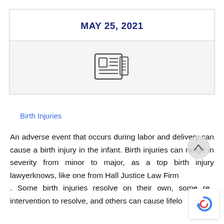MAY 25, 2021
[Figure (other): Newspaper/article icon inside a bordered box with light gray background]
Birth Injuries
An adverse event that occurs during labor and delivery can cause a birth injury in the infant. Birth injuries can range in severity from minor to major, as a top birth injury lawyerknows, like one from Hall Justice Law Firm . Some birth injuries resolve on their own, some req intervention to resolve, and others can cause lifelo